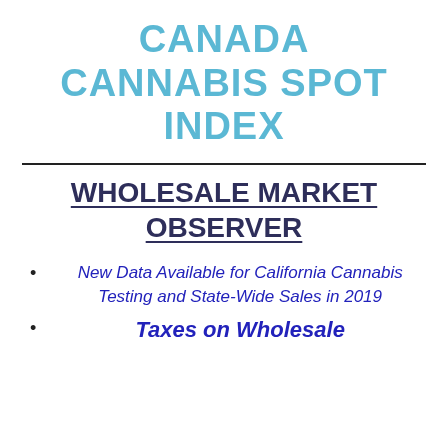CANADA CANNABIS SPOT INDEX
WHOLESALE MARKET OBSERVER
New Data Available for California Cannabis Testing and State-Wide Sales in 2019
Taxes on Wholesale